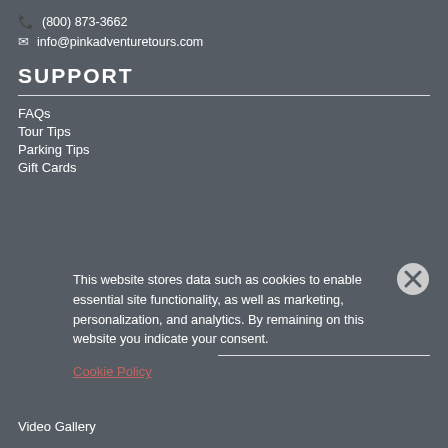(800) 873-3662
info@pinkadventuretours.com
SUPPORT
FAQs
Tour Tips
Parking Tips
Gift Cards
This website stores data such as cookies to enable essential site functionality, as well as marketing, personalization, and analytics. By remaining on this website you indicate your consent.
Cookie Policy
Video Gallery